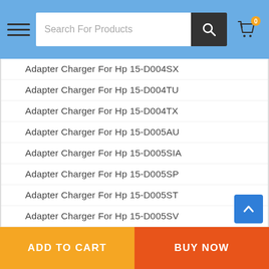Search For Products
Adapter Charger For Hp 15-D004SX
Adapter Charger For Hp 15-D004TU
Adapter Charger For Hp 15-D004TX
Adapter Charger For Hp 15-D005AU
Adapter Charger For Hp 15-D005SIA
Adapter Charger For Hp 15-D005SP
Adapter Charger For Hp 15-D005ST
Adapter Charger For Hp 15-D005SV
Adapter Charger For Hp 15-D005SW
Adapter Charger For Hp 15-D005SX
Adapter Charger For Hp 15-D005TU
Adapter Charger For Hp 15-D005TX
Adapter Charger For Hp 15-D006AU
Adapter Charger For Hp 15-D006ED
Adapter Charger For Hp 15-D006SX
Adapter Charger For Hp 15-D006TU
ADD TO CART | BUY NOW